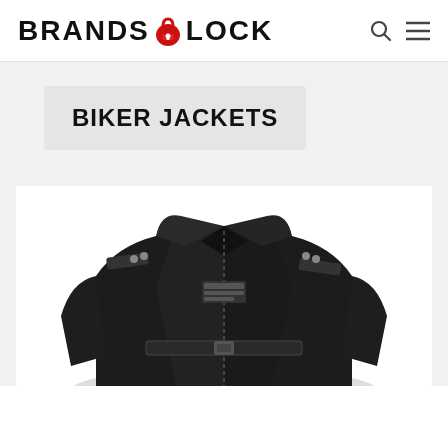BRANDS LOCK
BIKER JACKETS
[Figure (photo): A black leather biker jacket photographed from the front, showing collar, epaulettes, and zipper details, on a white background.]